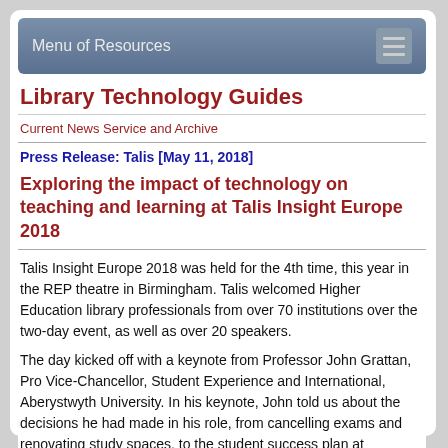Menu of Resources
Library Technology Guides
Current News Service and Archive
Press Release: Talis [May 11, 2018]
Exploring the impact of technology on teaching and learning at Talis Insight Europe 2018
Talis Insight Europe 2018 was held for the 4th time, this year in the REP theatre in Birmingham. Talis welcomed Higher Education library professionals from over 70 institutions over the two-day event, as well as over 20 speakers.
The day kicked off with a keynote from Professor John Grattan, Pro Vice-Chancellor, Student Experience and International, Aberystwyth University. In his keynote, John told us about the decisions he had made in his role, from cancelling exams and renovating study spaces, to the student success plan at